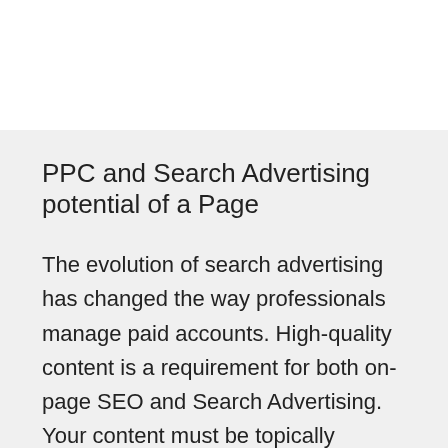PPC and Search Advertising potential of a Page
The evolution of search advertising has changed the way professionals manage paid accounts. High-quality content is a requirement for both on-page SEO and Search Advertising. Your content must be topically relevant if you're seeking the best possible Return on Investment (ROI) or Return on Ad Spend (ROAS). If not, your advertising will suffer. You can rely on the networks to help you, or you could add this new layer of bid intelligence to predict what will "spark" a reader's